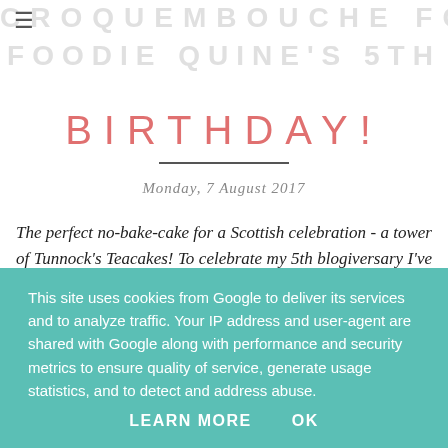CROQUEMBOUCHE FOR FOODIE QUINE'S 5TH
BIRTHDAY!
Monday, 7 August 2017
The perfect no-bake-cake for a Scottish celebration - a tower of Tunnock's Teacakes! To celebrate my 5th blogiversary I've created a Croquembouche of chocolate and marshmallow from the iconic silver and red wrapped biscuit.
This site uses cookies from Google to deliver its services and to analyze traffic. Your IP address and user-agent are shared with Google along with performance and security metrics to ensure quality of service, generate usage statistics, and to detect and address abuse.
LEARN MORE    OK